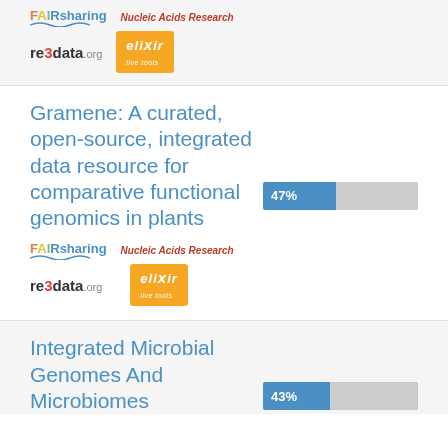[Figure (logo): FAIRsharing logo, Nucleic Acids Research text, re3data.org logo, ELIXIR orange badge — top gray card logos section]
Gramene: A curated, open-source, integrated data resource for comparative functional genomics in plants
[Figure (bar-chart): Score bar 47%]
[Figure (logo): FAIRsharing logo, Nucleic Acids Research text, re3data.org logo, ELIXIR orange badge — second card logos section]
Integrated Microbial Genomes And Microbiomes
[Figure (bar-chart): Score bar 43%]